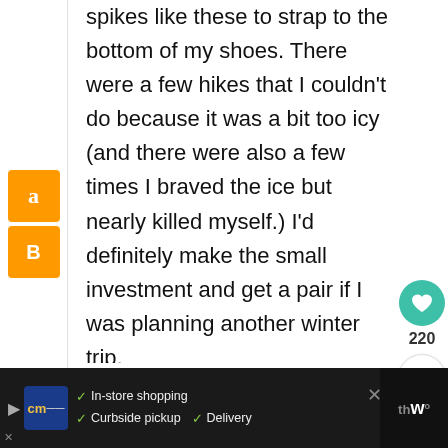spikes like these to strap to the bottom of my shoes. There were a few hikes that I couldn't do because it was a bit too icy (and there were also a few times I braved the ice but nearly killed myself.) I'd definitely make the small investment and get a pair if I was planning another winter trip.
[Figure (screenshot): Like button showing heart icon in teal circle with count 220, and a share button below it]
[Figure (screenshot): Advertisement banner with CM logo, in-store shopping, curbside pickup, and delivery checkmarks, navigation icon]